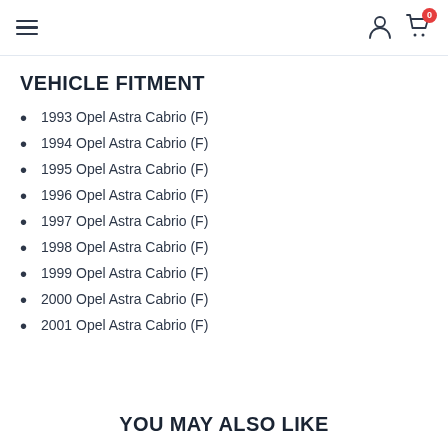Navigation header with hamburger menu, user icon, and cart icon (0 items)
VEHICLE FITMENT
1993 Opel Astra Cabrio (F)
1994 Opel Astra Cabrio (F)
1995 Opel Astra Cabrio (F)
1996 Opel Astra Cabrio (F)
1997 Opel Astra Cabrio (F)
1998 Opel Astra Cabrio (F)
1999 Opel Astra Cabrio (F)
2000 Opel Astra Cabrio (F)
2001 Opel Astra Cabrio (F)
YOU MAY ALSO LIKE